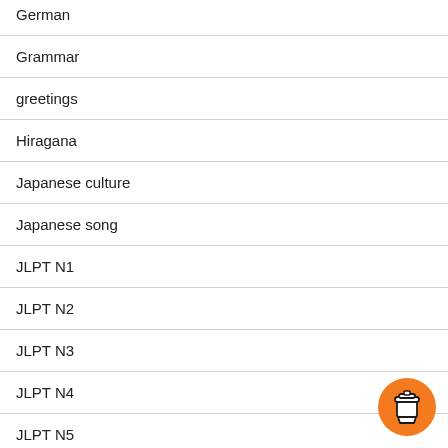German
Grammar
greetings
Hiragana
Japanese culture
Japanese song
JLPT N1
JLPT N2
JLPT N3
JLPT N4
JLPT N5
Kanji